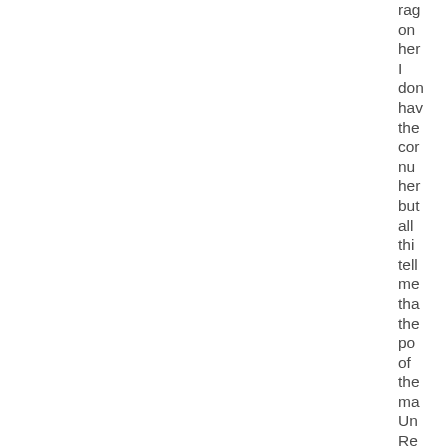rag on her I don hav the cor nu her but all thi tell me tha the po of the ma Un Re wo be